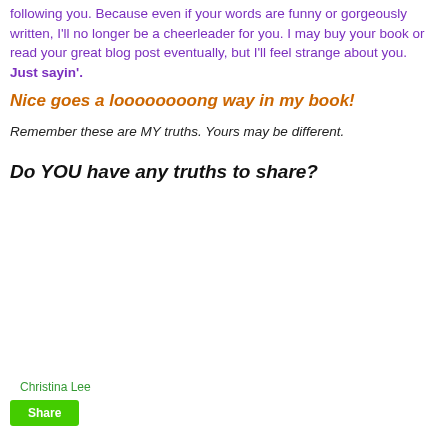following you. Because even if your words are funny or gorgeously written, I'll no longer be a cheerleader for you. I may buy your book or read your great blog post eventually, but I'll feel strange about you. Just sayin'.
Nice goes a loooooooong way in my book!
Remember these are MY truths. Yours may be different.
Do YOU have any truths to share?
Christina Lee
Share